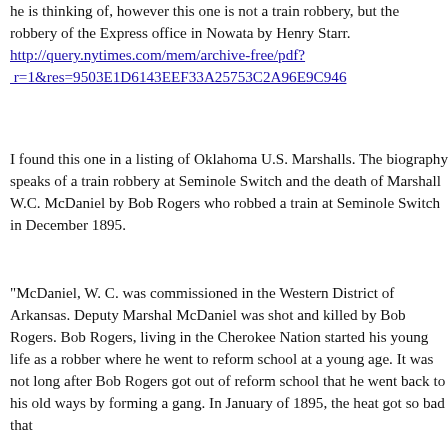he is thinking of, however this one is not a train robbery, but the robbery of the Express office in Nowata by Henry Starr.
http://query.nytimes.com/mem/archive-free/pdf?r=1&res=9503E1D6143EEF33A25753C2A96E9C946...
I found this one in a listing of Oklahoma U.S. Marshalls. The biography speaks of a train robbery at Seminole Switch and the death of Marshall W.C. McDaniel by Bob Rogers who robbed a train at Seminole Switch in December 1895.
"McDaniel, W. C. was commissioned in the Western District of Arkansas. Deputy Marshal McDaniel was shot and killed by Bob Rogers. Bob Rogers, living in the Cherokee Nation started his young life as a robber where he went to reform school at a young age. It was not long after Bob Rogers got out of reform school that he went back to his old ways by forming a gang. In January of 1895, the heat got so bad that